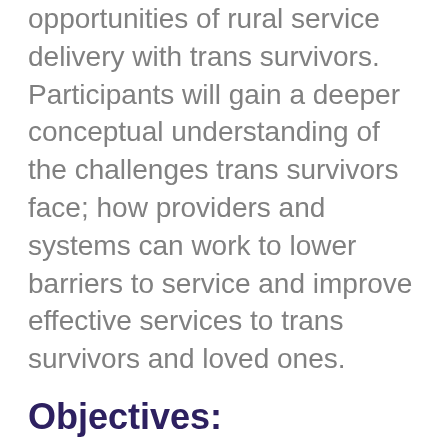opportunities of rural service delivery with trans survivors. Participants will gain a deeper conceptual understanding of the challenges trans survivors face; how providers and systems can work to lower barriers to service and improve effective services to trans survivors and loved ones.
Objectives:
1. Expand transgender vocabulary and conceptual framework.
2. ...